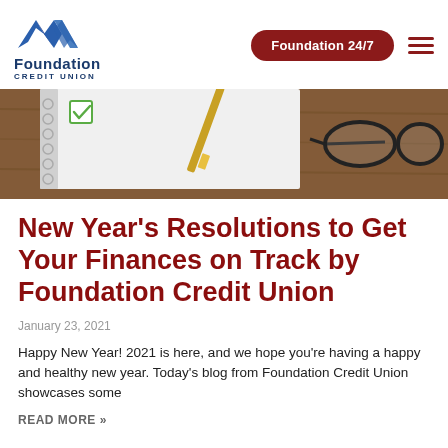Foundation Credit Union — Foundation 24/7
[Figure (photo): Photo of a notebook with a green checkbox, a pencil, and eyeglasses on a wooden table background]
New Year's Resolutions to Get Your Finances on Track by Foundation Credit Union
January 23, 2021
Happy New Year! 2021 is here, and we hope you're having a happy and healthy new year. Today's blog from Foundation Credit Union showcases some
READ MORE »